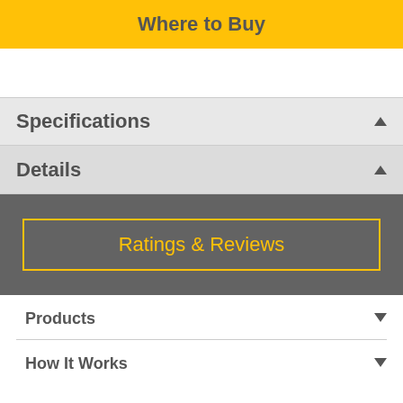Where to Buy
Specifications
Details
Ratings & Reviews
Products
How It Works